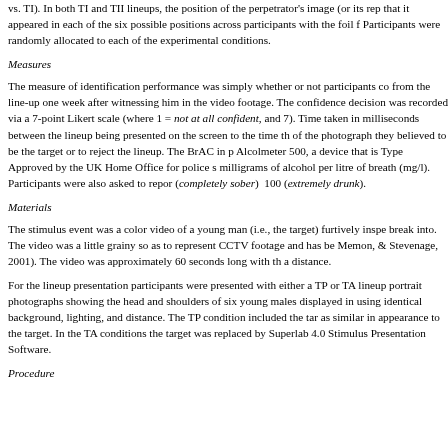vs. TI). In both TI and TII lineups, the position of the perpetrator's image (or its replacement) was counterbalanced so that it appeared in each of the six possible positions across participants with the foil filling the remaining positions. Participants were randomly allocated to each of the experimental conditions.
Measures
The measure of identification performance was simply whether or not participants correctly identified the target from the line-up one week after witnessing him in the video footage. The confidence rating associated with their decision was recorded via a 7-point Likert scale (where 1 = not at all confident, and 7 = very confident). Time taken in milliseconds between the lineup being presented on the screen to the time the participant selected one of the photograph they believed to be the target or to reject the lineup. The BrAC in participants was measured using an Alcolmeter 500, a device that is Type Approved by the UK Home Office for police screening use, and measures milligrams of alcohol per litre of breath (mg/l). Participants were also asked to report how drunk they felt, from 0 (completely sober) 100 (extremely drunk).
Materials
The stimulus event was a color video of a young man (i.e., the target) furtively inspecting a house he was about to break into. The video was a little grainy so as to represent CCTV footage and has been previously used (Levi, Memon, & Stevenage, 2001). The video was approximately 60 seconds long with the target filmed from the front at a distance.
For the lineup presentation participants were presented with either a TP or TA lineup. Both lineups consisted of portrait photographs showing the head and shoulders of six young males displayed in a single row on screen, taken using identical background, lighting, and distance. The TP condition included the target and five foils who were chosen as similar in appearance to the target. In the TA conditions the target was replaced by an additional foil, controlled using Superlab 4.0 Stimulus Presentation Software.
Procedure